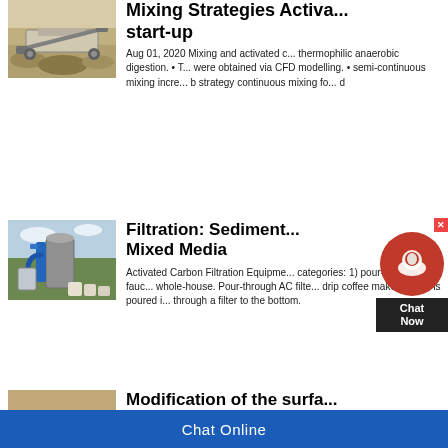[Figure (photo): Aerial view of quarry crushing/screening machine on rocky terrain]
Mixing Strategies Activa... start-up
Aug 01, 2020 Mixing and activated ... thermophilic anaerobic digestion. • ... were obtained via CFD modelling. • semi-continuous mixing incre... strategy continuous mixing fo... d
[Figure (photo): Industrial filtration/processing equipment with blue pipes and tanks]
Filtration: Sediment... Mixed Media
Activated Carbon Filtration Equipme... categories: 1) pour-through, 2) fauc... whole-house. Pour-through AC filte... drip coffee maker. Water is poured i... through a filter to the bottom.
[Figure (photo): Surface modification material, ground-level view]
Modification of the surfa...
Chat Online